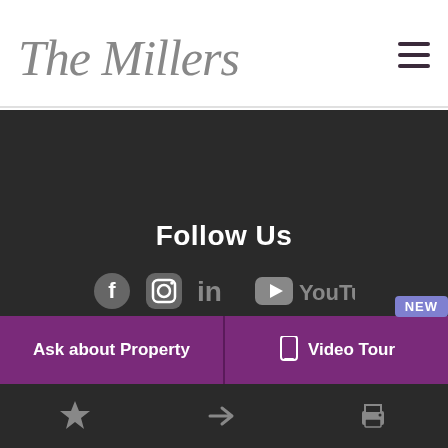The Millers
Follow Us
[Figure (infographic): Social media icons: Facebook, Instagram, LinkedIn, YouTube]
Ask about Property
Video Tour
[Figure (infographic): Bottom bar with star, share, and print icons]